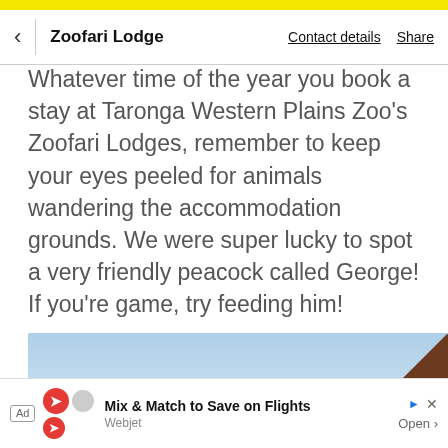< Zoofari Lodge   Contact details   Share
saltwater swimming pool.
Whatever time of the year you book a stay at Taronga Western Plains Zoo's Zoofari Lodges, remember to keep your eyes peeled for animals wandering the accommodation grounds. We were super lucky to spot a very friendly peacock called George! If you're game, try feeding him!
[Figure (photo): Outdoor photo showing blue sky and a brown triangular roof or structure in the lower right corner.]
Ad  Mix & Match to Save on Flights  Webjet  Open >